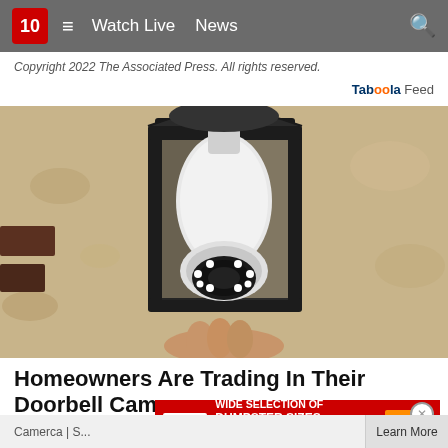10  ≡  Watch Live  News
Copyright 2022 The Associated Press. All rights reserved.
Taboola Feed
[Figure (photo): A white security camera shaped like a light bulb installed inside a black outdoor wall lantern fixture mounted on a textured stucco wall. A hand is visible holding the camera at the bottom.]
Homeowners Are Trading In Their Doorbell Cams
Camerca | S...
[Figure (other): CSI advertisement banner: WIDE SELECTION OF DUMPSTER SIZES AVAILABLE with flexible and timely, delivery and pick-up! GET QUOTE!]
Learn More